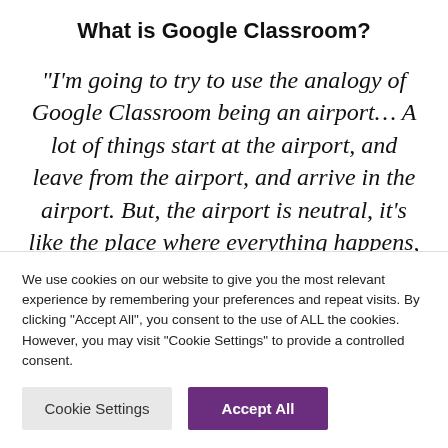What is Google Classroom?
“I’m going to try to use the analogy of Google Classroom being an airport… A lot of things start at the airport, and leave from the airport, and arrive in the airport. But, the airport is neutral, it’s like the place where everything happens, the hub of activity. I feel like Google classroom very much is like that. There are all
We use cookies on our website to give you the most relevant experience by remembering your preferences and repeat visits. By clicking “Accept All”, you consent to the use of ALL the cookies. However, you may visit “Cookie Settings” to provide a controlled consent.
Cookie Settings | Accept All